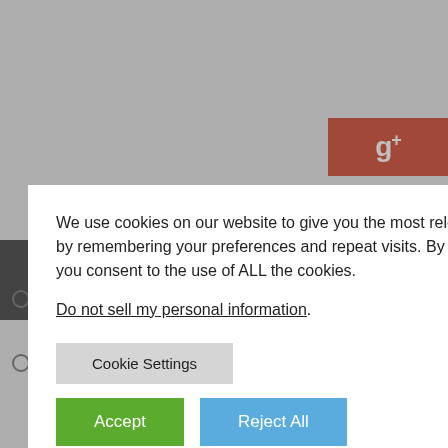[Figure (screenshot): Cookie consent modal overlay on a webpage. Modal contains cookie usage text, a 'Do not sell my personal information' link, a 'Cookie Settings' button, and 'Accept' and 'Reject All' buttons. Background shows a Google+ button (red), a gray sidebar, navigation strip, and article title 'The Obama Hockey Stick' by Tino Sanandaji dated August 6, 2011.]